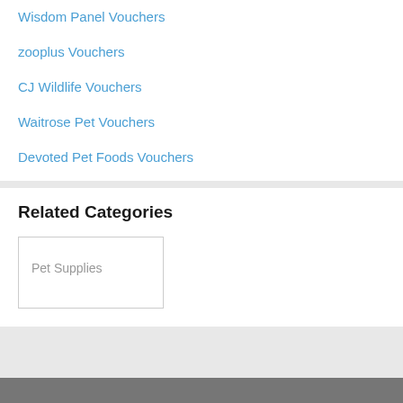Wisdom Panel Vouchers
zooplus Vouchers
CJ Wildlife Vouchers
Waitrose Pet Vouchers
Devoted Pet Foods Vouchers
Related Categories
Pet Supplies